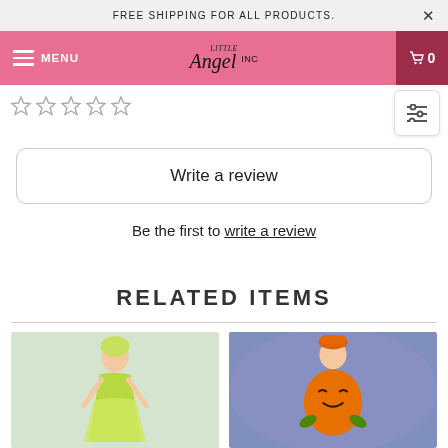FREE SHIPPING FOR ALL PRODUCTS.
MENU — Little Angel Inc — Cart 0
[Figure (other): Five empty star rating icons]
[Figure (other): Filter/sort adjustment icon button]
Write a review
Be the first to write a review
RELATED ITEMS
[Figure (photo): Girl in green fairy/forest princess costume dress]
[Figure (photo): Girl in orange pumpkin Halloween costume with purple smoky background]